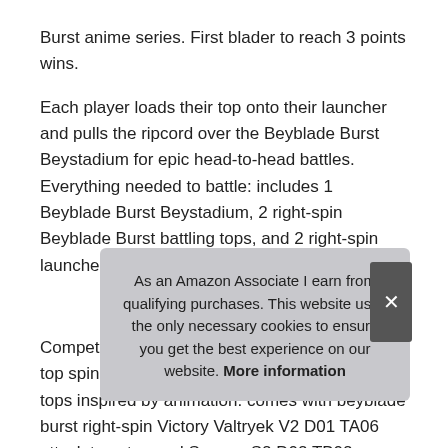Burst anime series. First blader to reach 3 points wins.
Each player loads their top onto their launcher and pulls the ripcord over the Beyblade Burst Beystadium for epic head-to-head battles. Everything needed to battle: includes 1 Beyblade Burst Beystadium, 2 right-spin Beyblade Burst battling tops, and 2 right-spin launchers.
More information #ad
Competitive battling tops: compete to be the last top spinning with Beyblade Burst tops. Iconic tops inspired by animation: comes with beyblade burst right-spin Victory Valtryek V2 D01 TA06 attack type top and Sanzon S2 D02 TB02 balance type top.
Blac... try t... own epic rivalry. Ages 8 and up: beyblade burst toys for kids
As an Amazon Associate I earn from qualifying purchases. This website uses the only necessary cookies to ensure you get the best experience on our website. More information